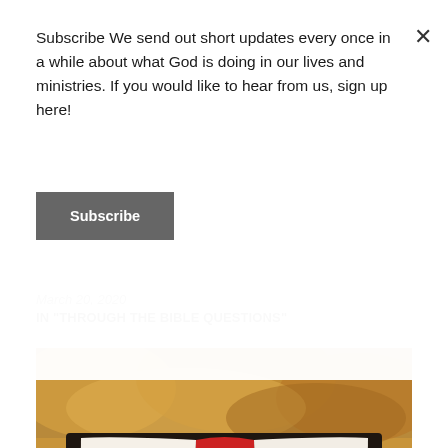Subscribe We send out short updates every once in a while about what God is doing in our lives and ministries. If you would like to hear from us, sign up here!
Subscribe
March 20, 2020
IN "THROUGH THE BIBLE QUESTIONS"
[Figure (photo): An open Bible with a red ribbon bookmark, placed on a surface with a blurred autumn background.]